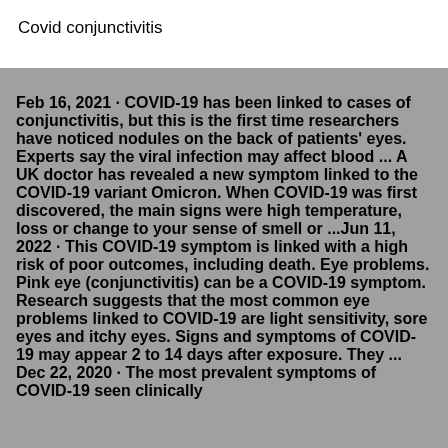Covid conjunctivitis
Feb 16, 2021 · COVID-19 has been linked to cases of conjunctivitis, but this is the first time researchers have noticed nodules on the back of patients' eyes. Experts say the viral infection may affect blood ... A UK doctor has revealed a new symptom linked to the COVID-19 variant Omicron. When COVID-19 was first discovered, the main signs were high temperature, loss or change to your sense of smell or ...Jun 11, 2022 · This COVID-19 symptom is linked with a high risk of poor outcomes, including death. Eye problems. Pink eye (conjunctivitis) can be a COVID-19 symptom. Research suggests that the most common eye problems linked to COVID-19 are light sensitivity, sore eyes and itchy eyes. Signs and symptoms of COVID-19 may appear 2 to 14 days after exposure. They ... Dec 22, 2020 · The most prevalent symptoms of COVID-19 seen clinically